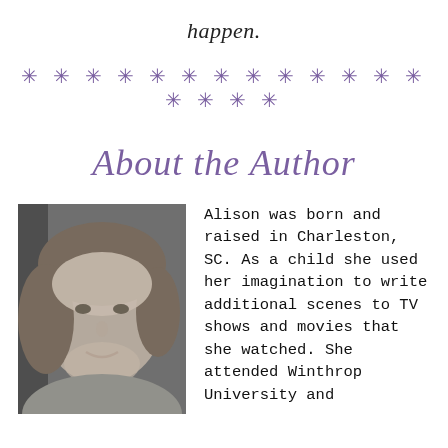happen.
* * * * * * * * * * * * * * * * * *
About the Author
[Figure (photo): Black and white headshot photo of the author Alison, a woman with short hair, smiling slightly.]
Alison was born and raised in Charleston, SC. As a child she used her imagination to write additional scenes to TV shows and movies that she watched. She attended Winthrop University and